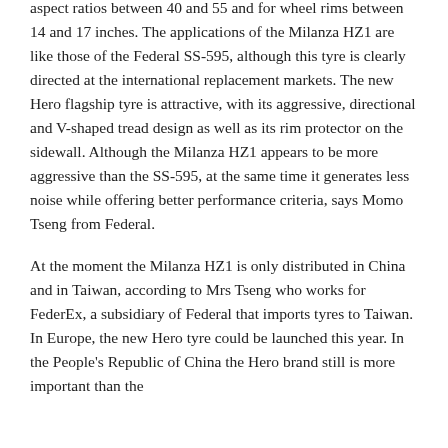aspect ratios between 40 and 55 and for wheel rims between 14 and 17 inches. The applications of the Milanza HZ1 are like those of the Federal SS-595, although this tyre is clearly directed at the international replacement markets. The new Hero flagship tyre is attractive, with its aggressive, directional and V-shaped tread design as well as its rim protector on the sidewall. Although the Milanza HZ1 appears to be more aggressive than the SS-595, at the same time it generates less noise while offering better performance criteria, says Momo Tseng from Federal.
At the moment the Milanza HZ1 is only distributed in China and in Taiwan, according to Mrs Tseng who works for FederEx, a subsidiary of Federal that imports tyres to Taiwan. In Europe, the new Hero tyre could be launched this year. In the People's Republic of China the Hero brand still is more important than the